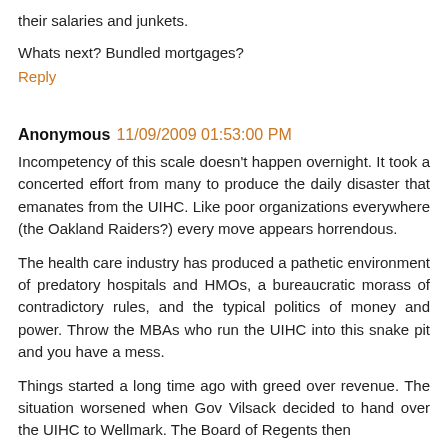their salaries and junkets.
Whats next? Bundled mortgages?
Reply
Anonymous  11/09/2009 01:53:00 PM
Incompetency of this scale doesn't happen overnight. It took a concerted effort from many to produce the daily disaster that emanates from the UIHC. Like poor organizations everywhere (the Oakland Raiders?) every move appears horrendous.
The health care industry has produced a pathetic environment of predatory hospitals and HMOs, a bureaucratic morass of contradictory rules, and the typical politics of money and power. Throw the MBAs who run the UIHC into this snake pit and you have a mess.
Things started a long time ago with greed over revenue. The situation worsened when Gov Vilsack decided to hand over the UIHC to Wellmark. The Board of Regents then